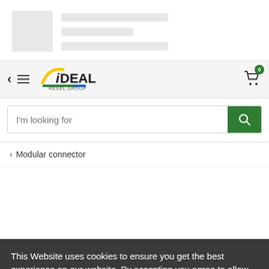[Figure (screenshot): Skeleton loader placeholder with gray box and gray lines representing loading content]
[Figure (logo): iDEAL Rexel Group logo with shopping cart icon showing 0 items, back arrow, and hamburger menu]
I'm looking for
< Modular connector
This Website uses cookies to ensure you get the best experience on our website. By accepting you agree to allow us store cookies on your computer. Learn More
I accept